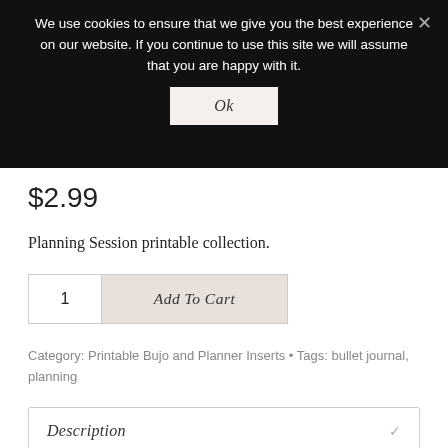We use cookies to ensure that we give you the best experience on our website. If you continue to use this site we will assume that you are happy with it.
Ok
$2.99
Planning Session printable collection.
1
Add To Cart
Category: Printable Bujo and Planner Inserts • Tags: bullet journal, planning
Description